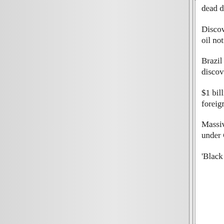dead dinos
Discovery backs theory oil not 'fossil fuel'
Brazil reports massive oil discovery
$1 billion a day for foreign oil
Massive oil field found under Gulf'
'Black Gold'